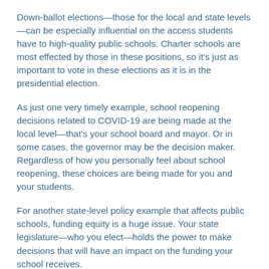Down-ballot elections—those for the local and state levels—can be especially influential on the access students have to high-quality public schools. Charter schools are most effected by those in these positions, so it's just as important to vote in these elections as it is in the presidential election.
As just one very timely example, school reopening decisions related to COVID-19 are being made at the local level—that's your school board and mayor. Or in some cases, the governor may be the decision maker. Regardless of how you personally feel about school reopening, these choices are being made for you and your students.
For another state-level policy example that affects public schools, funding equity is a huge issue. Your state legislature—who you elect—holds the power to make decisions that will have an impact on the funding your school receives.